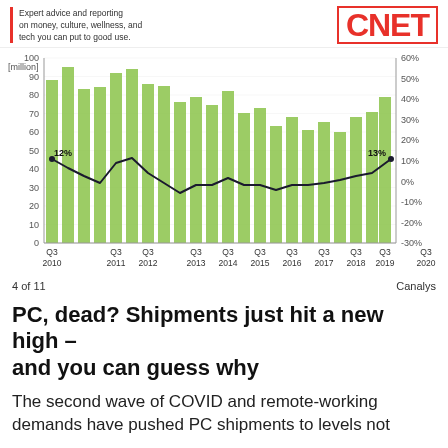Expert advice and reporting on money, culture, wellness, and tech you can put to good use. | CNET
[Figure (bar-chart): PC Shipments (million) with YoY % change]
4 of 11    Canalys
PC, dead? Shipments just hit a new high – and you can guess why
The second wave of COVID and remote-working demands have pushed PC shipments to levels not